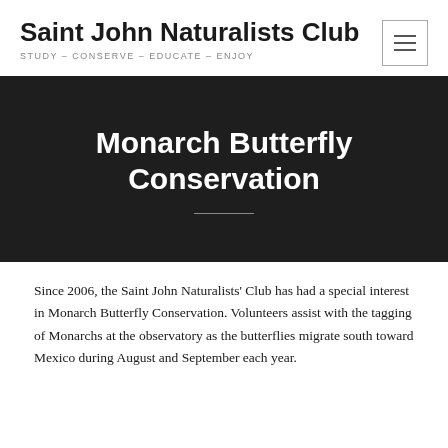Saint John Naturalists Club
STUDY – CONSERVE – EDUCATE – ENJOY
Monarch Butterfly Conservation
Since 2006, the Saint John Naturalists' Club has had a special interest in Monarch Butterfly Conservation. Volunteers assist with the tagging of Monarchs at the observatory as the butterflies migrate south toward Mexico during August and September each year.